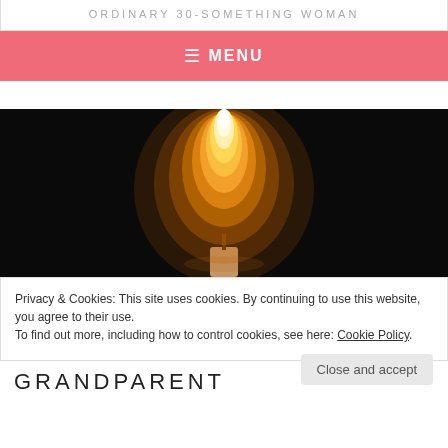ORDINARY 30-SOMETHING WOMAN
≡ MENU
[Figure (photo): A lit candle flame against a dark black background, with a hand holding the base of the candle visible at the bottom.]
Privacy & Cookies: This site uses cookies. By continuing to use this website, you agree to their use.
To find out more, including how to control cookies, see here: Cookie Policy
GRANDPARENT